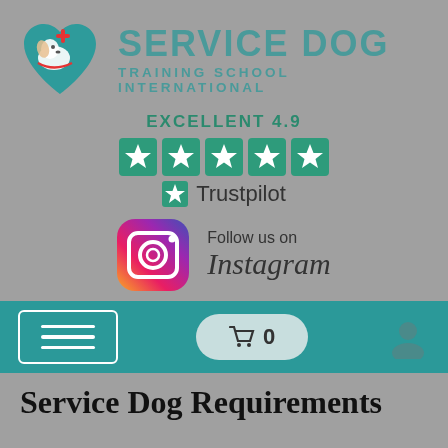[Figure (logo): Service Dog Training School International logo with teal heart icon containing a dog and red cross symbol]
EXCELLENT 4.9
[Figure (infographic): Five green star rating boxes (Trustpilot stars) followed by Trustpilot logo with star icon]
[Figure (infographic): Instagram logo with gradient icon and text 'Follow us on Instagram']
[Figure (screenshot): Navigation bar with hamburger menu, cart button showing 0, and user profile icon on teal background]
Service Dog Requirements